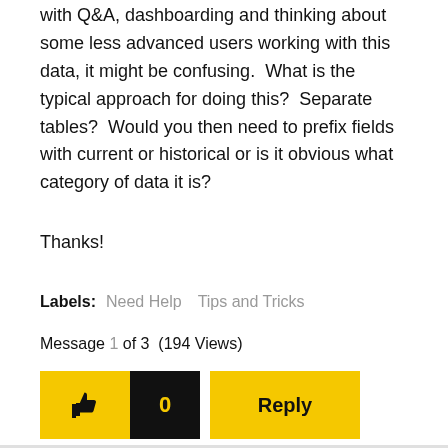with Q&A, dashboarding and thinking about some less advanced users working with this data, it might be confusing.  What is the typical approach for doing this?  Separate tables?  Would you then need to prefix fields with current or historical or is it obvious what category of data it is?
Thanks!
Labels:   Need Help   Tips and Tricks
Message 1 of 3  (194 Views)
[Figure (other): Like button (thumbs up icon, yellow background), count button (0, black background with yellow text), and Reply button (yellow background)]